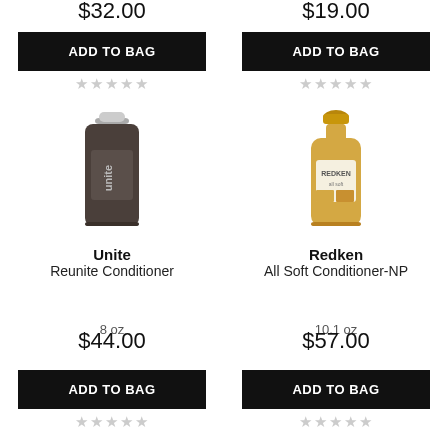$32.00
$19.00
ADD TO BAG
ADD TO BAG
[Figure (photo): Unite hair product bottle - dark brown cylindrical bottle]
[Figure (photo): Redken All Soft Conditioner bottle - golden/tan colored bottle]
Unite
Redken
Reunite Conditioner
All Soft Conditioner-NP
8 oz
10.1 oz
$44.00
$57.00
ADD TO BAG
ADD TO BAG